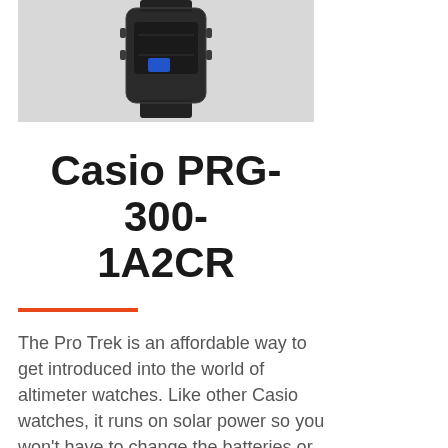[Figure (photo): Product photo of a Casio PRG-300-1A2CR watch, shown from the back/top angle, dark colored watch with a blue accent, displayed against a light gray background.]
Casio PRG-300-1A2CR
The Pro Trek is an affordable way to get introduced into the world of altimeter watches. Like other Casio watches, it runs on solar power so you won't have to change the batteries or worry about losing power on a long hike. Despite the low price, you get a altimeter, compass, and a barometer, as well as a stopwatch and a thermometer. The watch